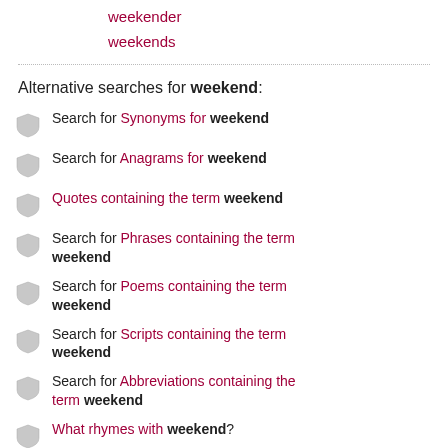weekender
weekends
Alternative searches for weekend:
Search for Synonyms for weekend
Search for Anagrams for weekend
Quotes containing the term weekend
Search for Phrases containing the term weekend
Search for Poems containing the term weekend
Search for Scripts containing the term weekend
Search for Abbreviations containing the term weekend
What rhymes with weekend?